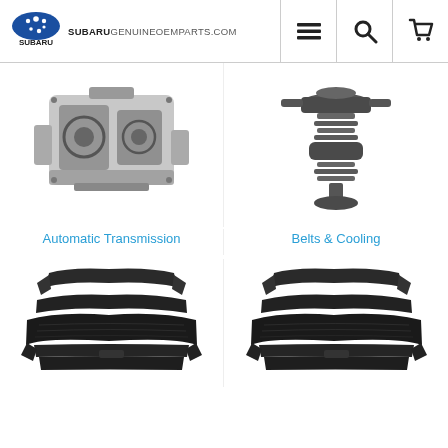SUBARUGENUINEOEMPARTS.COM
[Figure (photo): Subaru automatic transmission cutaway view, grayscale]
Automatic Transmission
[Figure (photo): Subaru thermostat / cooling system part, grayscale]
Belts & Cooling
[Figure (photo): Subaru front bumper lip / body kit parts, dark plastic, grayscale]
[Figure (photo): Subaru front bumper lip / body kit parts, dark plastic, grayscale (duplicate listing)]